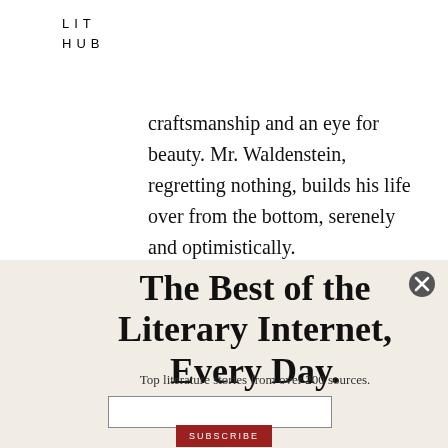LIT HUB
craftsmanship and an eye for beauty. Mr. Waldenstein, regretting nothing, builds his life over from the bottom, serenely and optimistically.

For Harriet, Yorkville is like a small town. A reader following Harriet's
The Best of the Literary Internet, Every Day.
Top literature stories from over 200 sources.
SUBSCRIBE